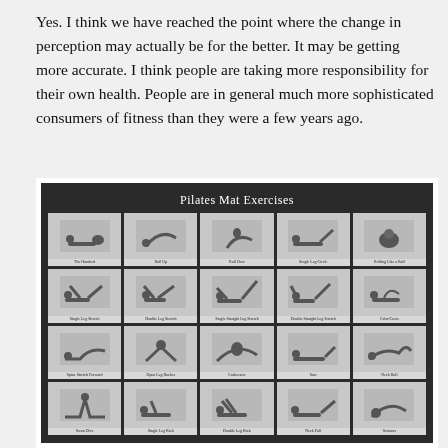Yes. I think we have reached the point where the change in perception may actually be for the better. It may be getting more accurate. I think people are taking more responsibility for their own health. People are in general much more sophisticated consumers of fitness than they were a few years ago.
[Figure (photo): A poster titled 'Pilates Mat Exercises' showing a dark-background grid of 20 black-and-white photographs demonstrating various Pilates mat exercises, arranged in 4 rows of 5 images each, with exercise names labeled below each photo.]